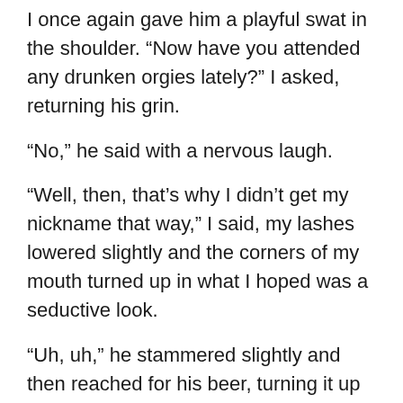I once again gave him a playful swat in the shoulder. “Now have you attended any drunken orgies lately?” I asked, returning his grin.
“No,” he said with a nervous laugh.
“Well, then, that’s why I didn’t get my nickname that way,” I said, my lashes lowered slightly and the corners of my mouth turned up in what I hoped was a seductive look.
“Uh, uh,” he stammered slightly and then reached for his beer, turning it up and downing the last few swallows. He set it down with a small clatter on the end table and then moved to the edge of the couch, saying, “I need another beer,” as he finally stood up.
Deke’s dad, who had witnessed this whole ‘Nikki flirting badly’ fiasco, stated flatly, “We’re out.”